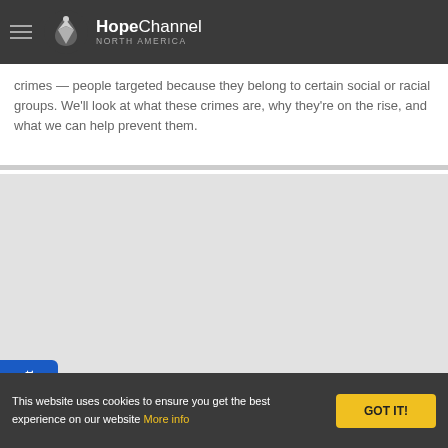HopeChannel NORTH AMERICA
crimes — people targeted because they belong to certain social or racial groups. We'll look at what these crimes are, why they're on the rise, and what we can help prevent them.
[Figure (screenshot): Embedded video player area with light gray background]
This website uses cookies to ensure you get the best experience on our website More info
GOT IT!